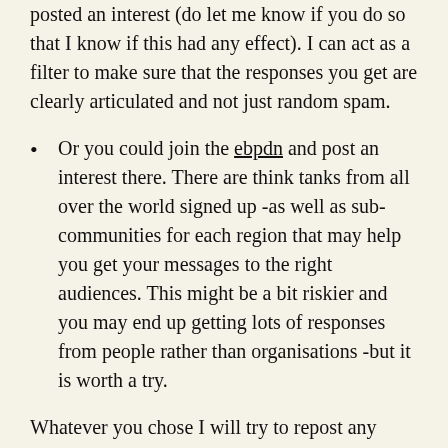posted an interest (do let me know if you do so that I know if this had any effect). I can act as a filter to make sure that the responses you get are clearly articulated and not just random spam.
Or you could join the ebpdn and post an interest there. There are think tanks from all over the world signed up -as well as sub-communities for each region that may help you get your messages to the right audiences. This might be a bit riskier and you may end up getting lots of responses from people rather than organisations -but it is worth a try.
Whatever you chose I will try to repost any responses to make sure that those who chose other options don't miss out. So